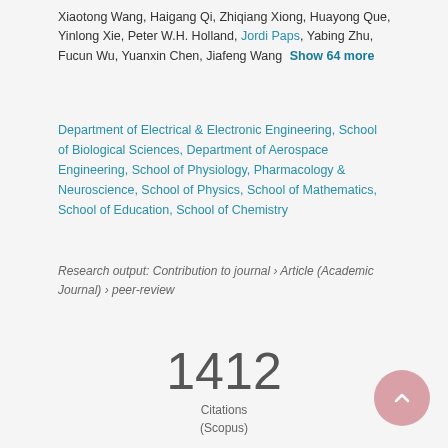Xiaotong Wang, Haigang Qi, Zhiqiang Xiong, Huayong Que, Yinlong Xie, Peter W.H. Holland, Jordi Paps, Yabing Zhu, Fucun Wu, Yuanxin Chen, Jiafeng Wang   Show 64 more
Department of Electrical & Electronic Engineering, School of Biological Sciences, Department of Aerospace Engineering, School of Physiology, Pharmacology & Neuroscience, School of Physics, School of Mathematics, School of Education, School of Chemistry
Research output: Contribution to journal › Article (Academic Journal) › peer-review
1412 Citations (Scopus)